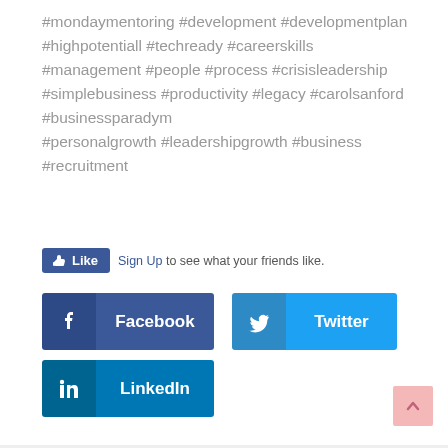#mondaymentoring #development #developmentplan #highpotentiall #techready #careerskills #management #people #process #crisisleadership #simplebusiness #productivity #legacy #carolsanford #businessparadym #personalgrowth #leadershipgrowth #business #recruitment
[Figure (screenshot): Facebook Like button with 'Sign Up to see what your friends like.' text]
[Figure (infographic): Social share buttons: Facebook, Twitter, LinkedIn]
[Figure (other): Back to top button (pink arrow up)]